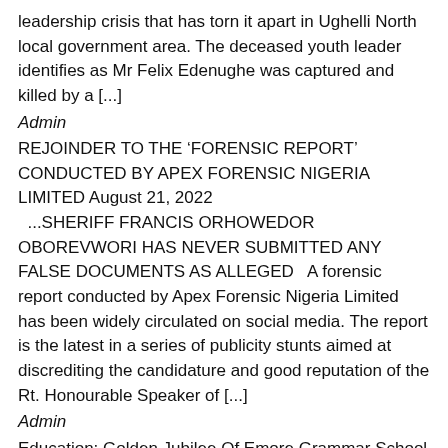leadership crisis that has torn it apart in Ughelli North local government area. The deceased youth leader identifies as Mr Felix Edenughe was captured and killed by a [...]
Admin
REJOINDER TO THE ‘FORENSIC REPORT’ CONDUCTED BY APEX FORENSIC NIGERIA LIMITED August 21, 2022
…SHERIFF FRANCIS ORHOWEDOR OBOREVWORI HAS NEVER SUBMITTED ANY FALSE DOCUMENTS AS ALLEGED   A forensic report conducted by Apex Forensic Nigeria Limited has been widely circulated on social media. The report is the latest in a series of publicity stunts aimed at discrediting the candidature and good reputation of the Rt. Honourable Speaker of [...]
Admin
Education: Golden Jubilee Of Emore Grammar School Kicks Off 7th September August 19, 2022
....Gov. Okowa To Commission Commemorative Hall   By Kelvin Ohoror-OLEH   The programme for the 50 years celebration of the Emore Grammar School, Oleh is billed to